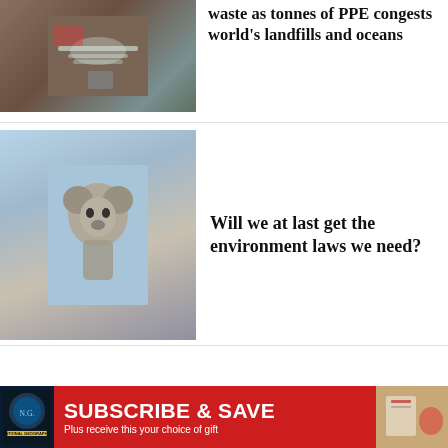[Figure (photo): A mask hanging on branches or debris, PPE waste imagery]
waste as tonnes of PPE congests world's landfills and oceans
[Figure (photo): A koala looking up at the camera against a blue sky background]
Will we at last get the environment laws we need?
[Figure (photo): Glowing green bioluminescent fungi on a log in a dark rainforest]
Where the rainforest glows
[Figure (illustration): Subscribe & Save promotional banner with magazine cover and gift image]